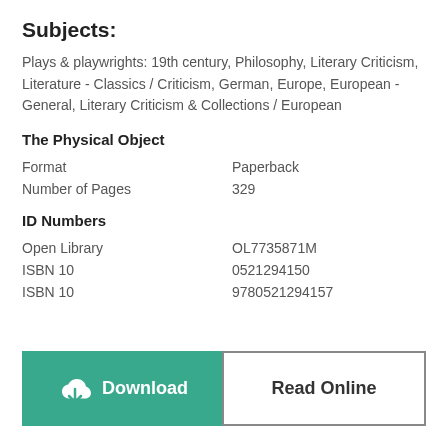Subjects:
Plays & playwrights: 19th century, Philosophy, Literary Criticism, Literature - Classics / Criticism, German, Europe, European - General, Literary Criticism & Collections / European
The Physical Object
| Format | Paperback |
| Number of Pages | 329 |
ID Numbers
| Open Library | OL7735871M |
| ISBN 10 | 0521294150 |
| ISBN 10 | 9780521294157 |